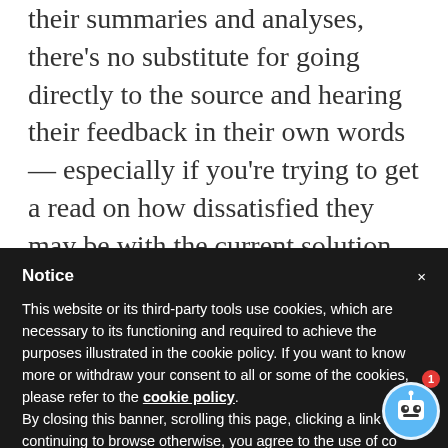their summaries and analyses, there's no substitute for going directly to the source and hearing their feedback in their own words — especially if you're trying to get a read on how dissatisfied they may be with the current solution or how excited they may be about a new approach.
Notice
This website or its third-party tools use cookies, which are necessary to its functioning and required to achieve the purposes illustrated in the cookie policy. If you want to know more or withdraw your consent to all or some of the cookies, please refer to the cookie policy. By closing this banner, scrolling this page, clicking a link or continuing to browse otherwise, you agree to the use of co